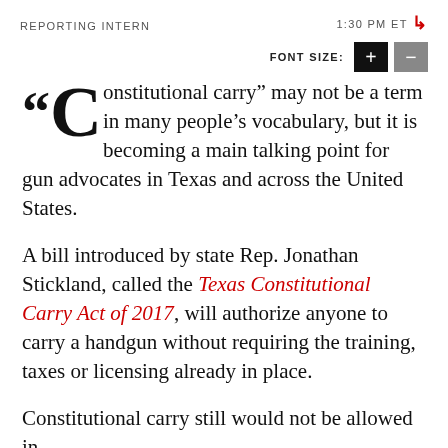REPORTING INTERN    1:30 PM ET
FONT SIZE: + −
“Constitutional carry” may not be a term in many people’s vocabulary, but it is becoming a main talking point for gun advocates in Texas and across the United States.
A bill introduced by state Rep. Jonathan Stickland, called the Texas Constitutional Carry Act of 2017, will authorize anyone to carry a handgun without requiring the training, taxes or licensing already in place.
Constitutional carry still would not be allowed in